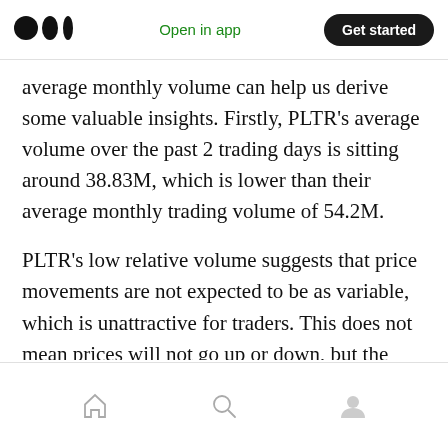Medium logo | Open in app | Get started
average monthly volume can help us derive some valuable insights. Firstly, PLTR's average volume over the past 2 trading days is sitting around 38.83M, which is lower than their average monthly trading volume of 54.2M.
PLTR's low relative volume suggests that price movements are not expected to be as variable, which is unattractive for traders. This does not mean prices will not go up or down, but the movements/trends are likely to be less significant.)
Home | Search | Profile